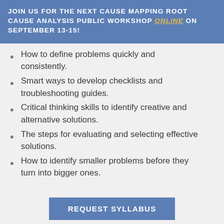JOIN US FOR THE NEXT CAUSE MAPPING ROOT CAUSE ANALYSIS PUBLIC WORKSHOP ONLINE ON SEPTEMBER 13-15!
How to define problems quickly and consistently.
Smart ways to develop checklists and troubleshooting guides.
Critical thinking skills to identify creative and alternative solutions.
The steps for evaluating and selecting effective solutions.
How to identify smaller problems before they turn into bigger ones.
REQUEST SYLLABUS